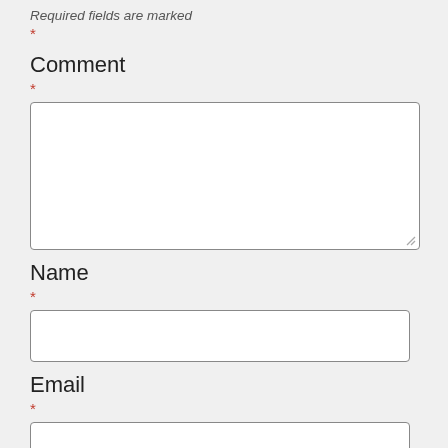Required fields are marked *
Comment *
[Figure (other): Textarea input box for comment field]
Name *
[Figure (other): Text input box for name field]
Email *
[Figure (other): Text input box for email field]